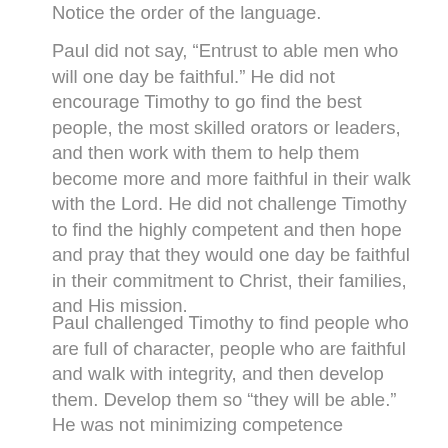Notice the order of the language.
Paul did not say, “Entrust to able men who will one day be faithful.” He did not encourage Timothy to go find the best people, the most skilled orators or leaders, and then work with them to help them become more and more faithful in their walk with the Lord. He did not challenge Timothy to find the highly competent and then hope and pray that they would one day be faithful in their commitment to Christ, their families, and His mission.
Paul challenged Timothy to find people who are full of character, people who are faithful and walk with integrity, and then develop them. Develop them so “they will be able.” He was not minimizing competence